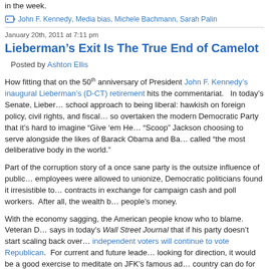in the week.
John F. Kennedy, Media bias, Michele Bachmann, Sarah Palin
January 20th, 2011 at 7:11 pm
Lieberman’s Exit Is The True End of Camelot
Posted by Ashton Ellis
How fitting that on the 50th anniversary of President John F. Kennedy’s inaugural Lieberman’s (D-CT) retirement hits the commentariat. In today’s Senate, Lieber… school approach to being liberal: hawkish on foreign policy, civil rights, and fiscal… so overtaken the modern Democratic Party that it’s hard to imagine “Give ’em He… “Scoop” Jackson choosing to serve alongside the likes of Barack Obama and Ba… called “the most deliberative body in the world.”
Part of the corruption story of a once sane party is the outsize influence of public… employees were allowed to unionize, Democratic politicians found it irresistible to… contracts in exchange for campaign cash and poll workers. After all, the wealth b… people’s money.
With the economy sagging, the American people know who to blame. Veteran D… says in today’s Wall Street Journal that if his party doesn’t start scaling back over… independent voters will continue to vote Republican. For current and future leade… looking for direction, it would be a good exercise to meditate on JFK’s famous ad… country can do for you. Ask what you can do for your country.”
Barack Obama, Barbara Boxer, Democratic Party, Doug Schoen, Harry Truman, Henry “S…